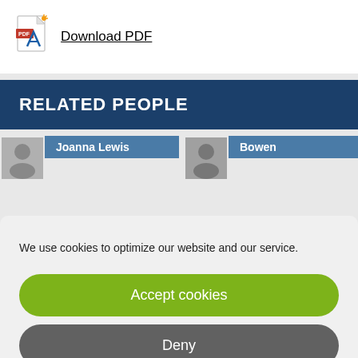[Figure (other): PDF file icon with red and blue coloring]
Download PDF
RELATED PEOPLE
Joanna Lewis
Bowen
We use cookies to optimize our website and our service.
Accept cookies
Deny
View preferences
Cookie Policy   Privacy policy